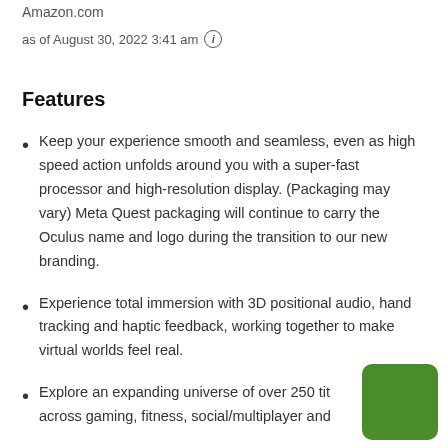Amazon.com
as of August 30, 2022 3:41 am ℹ
Features
Keep your experience smooth and seamless, even as high speed action unfolds around you with a super-fast processor and high-resolution display. (Packaging may vary) Meta Quest packaging will continue to carry the Oculus name and logo during the transition to our new branding.
Experience total immersion with 3D positional audio, hand tracking and haptic feedback, working together to make virtual worlds feel real.
Explore an expanding universe of over 250 titles across gaming, fitness, social/multiplayer and